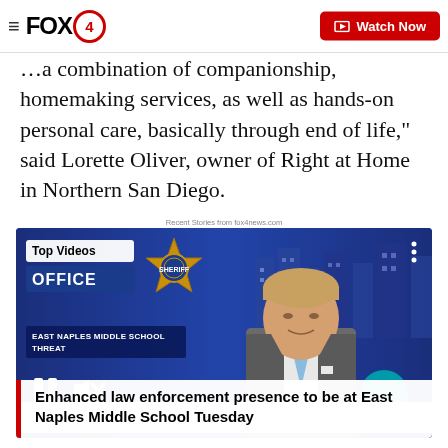FOX4 — Watch Now
…a combination of companionship, homemaking services, as well as hands-on personal care, basically through end of life," said Lorette Oliver, owner of Right at Home in Northern San Diego.
Recent Stories from fox4news.com
[Figure (screenshot): FOX4 video player showing a news anchor in a studio. Overlay shows 'Top Videos OFFICE' badge with a sheriff's star badge, 'EAST NAPLES MIDDLE SCHOOL THREAT' lower-third graphic, pause and mute controls, and a teal arrow button.]
Enhanced law enforcement presence to be at East Naples Middle School Tuesday